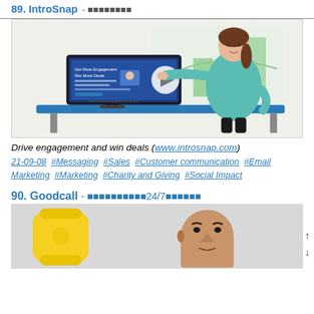89. IntroSnap - ■■■■■■■■
[Figure (illustration): Animated illustration of a woman in teal jacket pointing at a computer monitor showing a website. The screen displays 'Get More Engagement Win More Deals' with a play button overlay. Background shows green bar chart elements on a whiteboard.]
Drive engagement and win deals (www.introsnap.com)
21-09-08  #Messaging  #Sales  #Customer communication  #Email Marketing  #Marketing  #Charity and Giving  #Social Impact
90. Goodcall - ■■■■■■■■■■24/7■■■■■■
[Figure (photo): Photo showing a yellow telephone handset on the left and a man's face on the right, against a light gray background.]